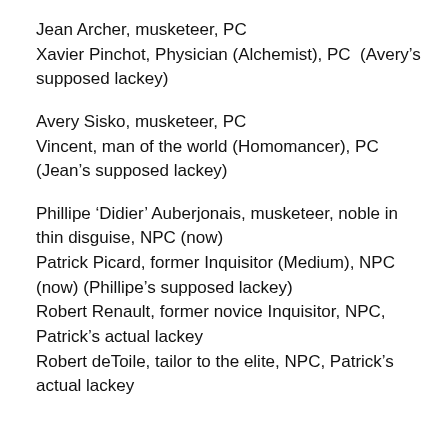Jean Archer, musketeer, PC
Xavier Pinchot, Physician (Alchemist), PC  (Avery's supposed lackey)
Avery Sisko, musketeer, PC
Vincent, man of the world (Homomancer), PC (Jean's supposed lackey)
Phillipe ‘Didier’ Auberjonais, musketeer, noble in thin disguise, NPC (now)
Patrick Picard, former Inquisitor (Medium), NPC (now) (Phillipe’s supposed lackey)
Robert Renault, former novice Inquisitor, NPC, Patrick’s actual lackey
Robert deToile, tailor to the elite, NPC, Patrick’s actual lackey